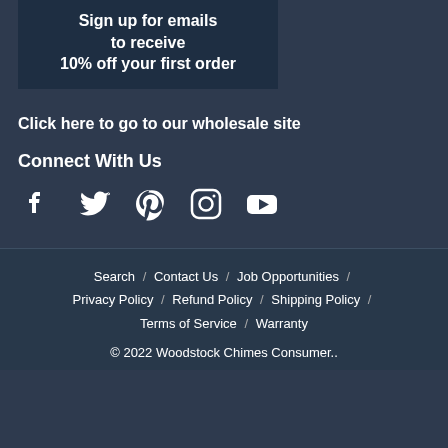[Figure (infographic): Dark blue box with text: Sign up for emails to receive 10% off your first order]
Click here to go to our wholesale site
Connect With Us
[Figure (infographic): Social media icons: Facebook, Twitter, Pinterest, Instagram, YouTube]
Search / Contact Us / Job Opportunities / Privacy Policy / Refund Policy / Shipping Policy / Terms of Service / Warranty
© 2022 Woodstock Chimes Consumer..